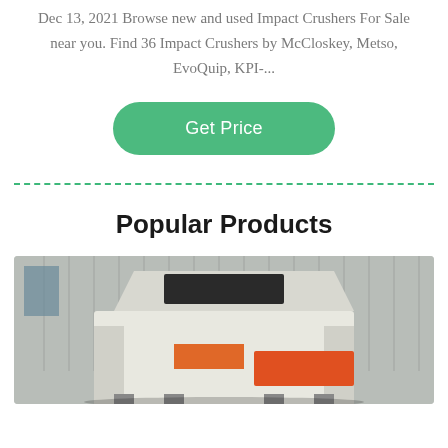Dec 13, 2021 Browse new and used Impact Crushers For Sale near you. Find 36 Impact Crushers by McCloskey, Metso, EvoQuip, KPI-...
Get Price
Popular Products
[Figure (photo): Industrial impact crusher machinery photographed outdoors near a warehouse/factory building with corrugated metal siding. Equipment appears large and orange/white colored.]